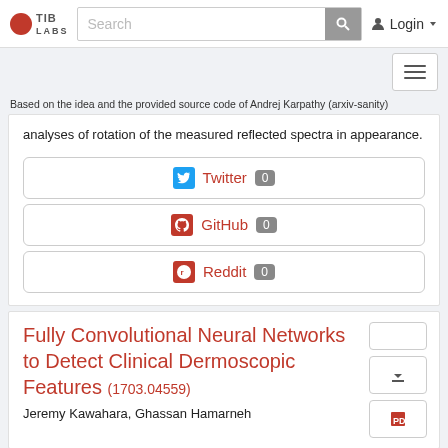TIB LABS  Search  Login
Based on the idea and the provided source code of Andrej Karpathy (arxiv-sanity)
analyses of rotation of the measured reflected spectra in appearance.
Twitter 0
GitHub 0
Reddit 0
Fully Convolutional Neural Networks to Detect Clinical Dermoscopic Features (1703.04559)
Jeremy Kawahara, Ghassan Hamarneh